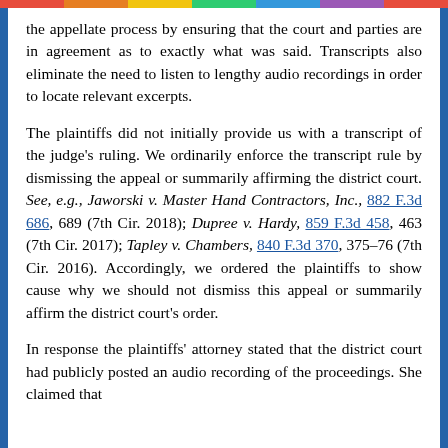the appellate process by ensuring that the court and parties are in agreement as to exactly what was said. Transcripts also eliminate the need to listen to lengthy audio recordings in order to locate relevant excerpts.
The plaintiffs did not initially provide us with a transcript of the judge's ruling. We ordinarily enforce the transcript rule by dismissing the appeal or summarily affirming the district court. See, e.g., Jaworski v. Master Hand Contractors, Inc., 882 F.3d 686, 689 (7th Cir. 2018); Dupree v. Hardy, 859 F.3d 458, 463 (7th Cir. 2017); Tapley v. Chambers, 840 F.3d 370, 375-76 (7th Cir. 2016). Accordingly, we ordered the plaintiffs to show cause why we should not dismiss this appeal or summarily affirm the district court's order.
In response the plaintiffs' attorney stated that the district court had publicly posted an audio recording of the proceedings. She claimed that